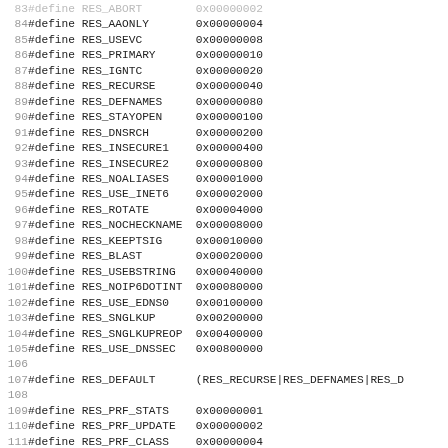[Figure (screenshot): Source code listing showing C preprocessor #define macros for DNS resolver option flags (RES_AAONLY through RES_PRF_AUTH), with line numbers 84-115 on the left and hex values on the right.]